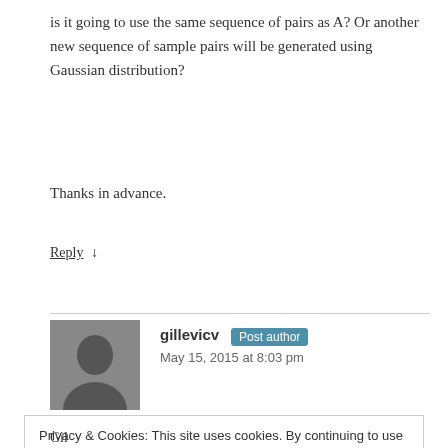is it going to use the same sequence of pairs as A? Or another new sequence of sample pairs will be generated using Gaussian distribution?
Thanks in advance.
Reply ↓
gillevicv Post author
May 15, 2015 at 8:03 pm
Privacy & Cookies: This site uses cookies. By continuing to use this website, you agree to their use.
To find out more, including how to control cookies, see here: Cookie Policy
Gil